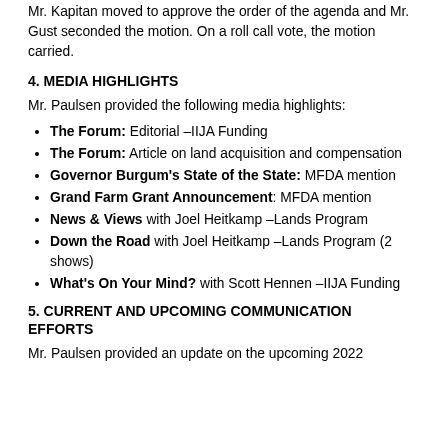Mr. Kapitan moved to approve the order of the agenda and Mr. Gust seconded the motion. On a roll call vote, the motion carried.
4. MEDIA HIGHLIGHTS
Mr. Paulsen provided the following media highlights:
The Forum: Editorial –IIJA Funding
The Forum: Article on land acquisition and compensation
Governor Burgum's State of the State: MFDA mention
Grand Farm Grant Announcement: MFDA mention
News & Views with Joel Heitkamp –Lands Program
Down the Road with Joel Heitkamp –Lands Program (2 shows)
What's On Your Mind? with Scott Hennen –IIJA Funding
5. CURRENT AND UPCOMING COMMUNICATION EFFORTS
Mr. Paulsen provided an update on the upcoming 2022